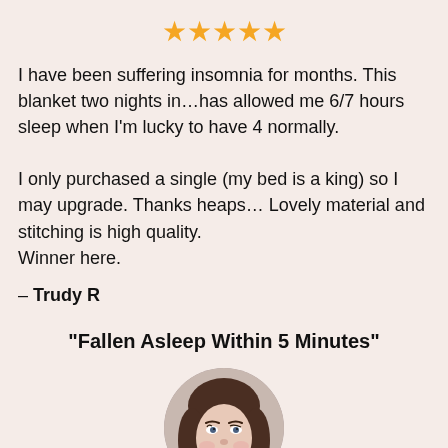[Figure (illustration): Five gold star rating icons displayed in a row]
I have been suffering insomnia for months. This blanket two nights in…has allowed me 6/7 hours sleep when I'm lucky to have 4 normally.

I only purchased a single (my bed is a king) so I may upgrade. Thanks heaps… Lovely material and stitching is high quality.
Winner here.
– Trudy R
“Fallen Asleep Within 5 Minutes”
[Figure (photo): Circular profile photo of a young woman with brown wavy hair, smiling slightly, looking upward]